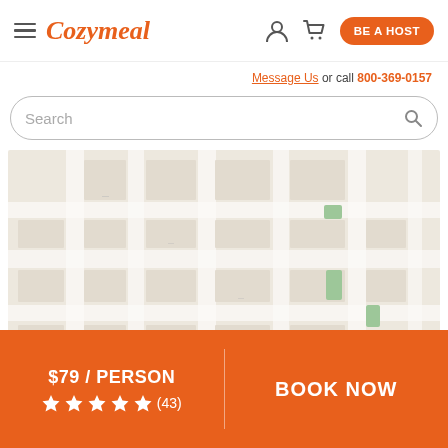Cozymeal — BE A HOST — hamburger menu, user icon, cart icon
Message Us or call 800-369-0157
Search
[Figure (map): Blurred street map showing city grid with roads and blocks]
$79 / PERSON ★★★★★ (43) | BOOK NOW